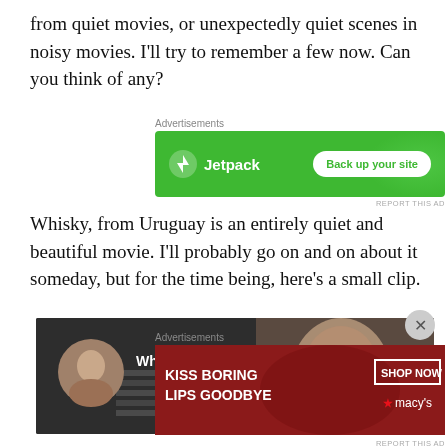from quiet movies, or unexpectedly quiet scenes in noisy movies. I'll try to remember a few now. Can you think of any?
[Figure (other): Jetpack advertisement banner: green background with Jetpack logo and 'Back up your site' button]
Whisky, from Uruguay is an entirely quiet and beautiful movie. I'll probably go on and on about it someday, but for the time being, here's a small clip.
[Figure (screenshot): Video thumbnail showing 'Whisky: segunda escena' with a man's avatar on left and a woman's face on right against a dark background]
[Figure (other): Macy's advertisement: 'KISS BORING LIPS GOODBYE' with lips image and 'SHOP NOW macys' on dark red background]